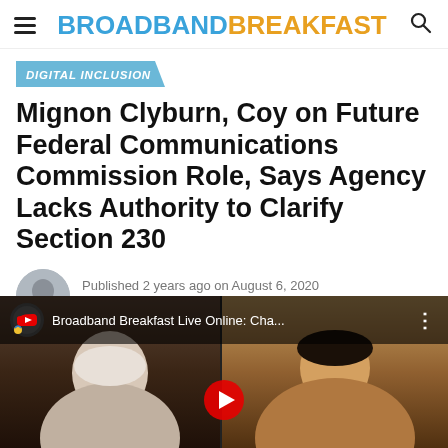BROADBANDBREAKFAST
DIGITAL INCLUSION
Mignon Clyburn, Coy on Future Federal Communications Commission Role, Says Agency Lacks Authority to Clarify Section 230
Published 2 years ago on August 6, 2020
By Elijah Labby
[Figure (screenshot): YouTube video embed showing two participants in a video call: Broadband Breakfast Live Online: Cha...]